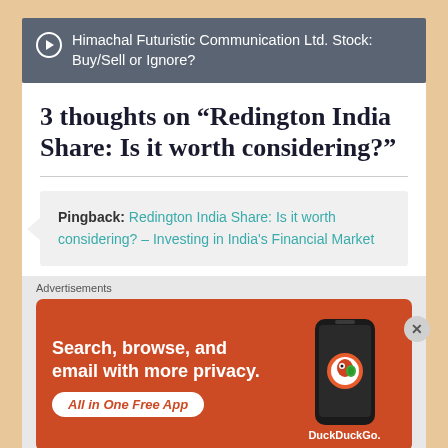Himachal Futuristic Communication Ltd. Stock: Buy/Sell or Ignore?
3 thoughts on “Redington India Share: Is it worth considering?”
Pingback: Redington India Share: Is it worth considering? – Investing in India's Financial Market
Advertisements
[Figure (infographic): DuckDuckGo advertisement banner with orange background showing a smartphone. Text reads: Search, browse, and email with more privacy. All in One Free App. DuckDuckGo logo shown.]